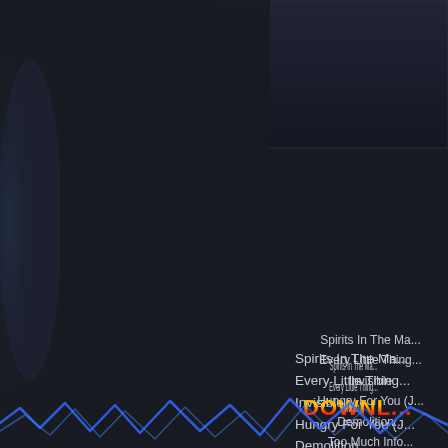[Figure (illustration): Dark atmospheric background with ghostly figure on left side and album art box in upper right area]
Spirits In The Ma...
Every Little Thing...
Invisible
Hungry For You (J...
Demolition...
Too Much Info...
Rehumanize...
One World (N...
Omegan...
Secret Jou...
Darkne...
DOWNL...
[Figure (illustration): Blue lightning bolt zigzag design at bottom of page]